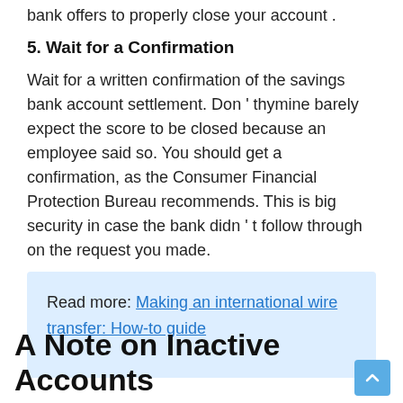bank offers to properly close your account .
5. Wait for a Confirmation
Wait for a written confirmation of the savings bank account settlement. Don ' thymine barely expect the score to be closed because an employee said so. You should get a confirmation, as the Consumer Financial Protection Bureau recommends. This is big security in case the bank didn ' t follow through on the request you made.
Read more: Making an international wire transfer: How-to guide
A Note on Inactive Accounts